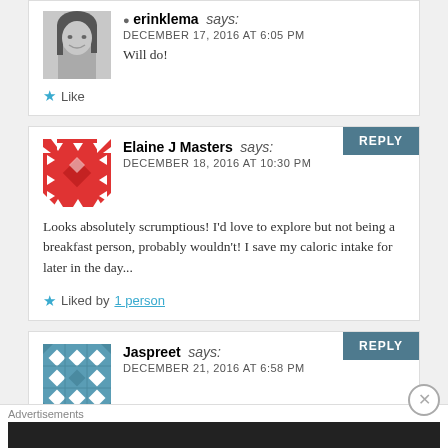[Figure (photo): Black and white photo avatar of erinklema, a woman with straight hair smiling]
erinklema says:
DECEMBER 17, 2016 AT 6:05 PM
Will do!
Like
[Figure (illustration): Red and white geometric pattern avatar for Elaine J Masters]
Elaine J Masters says:
DECEMBER 18, 2016 AT 10:30 PM
Looks absolutely scrumptious! I'd love to explore but not being a breakfast person, probably wouldn't! I save my caloric intake for later in the day...
Liked by 1 person
[Figure (illustration): Teal and white geometric pattern avatar for Jaspreet]
Jaspreet says:
DECEMBER 21, 2016 AT 6:58 PM
Advertisements